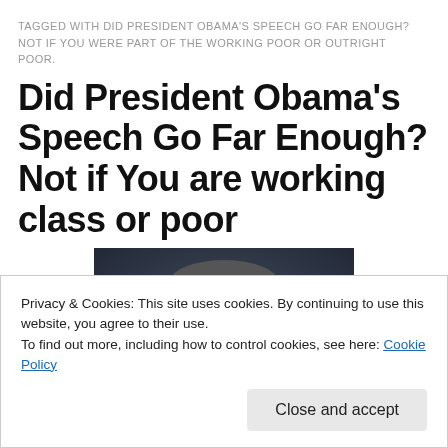TAGGED WITH DID PRESIDENT OBAMA'S SPEECH GO FAR ENOUGH? NOT IF YOU WERE PART OF THE WORKING POOR OR OUTRIGHT POOR.
Did President Obama's Speech Go Far Enough? Not if You are working class or poor
[Figure (photo): Partial photo of a person's face visible above a cookie consent banner]
Privacy & Cookies: This site uses cookies. By continuing to use this website, you agree to their use.
To find out more, including how to control cookies, see here: Cookie Policy
Close and accept